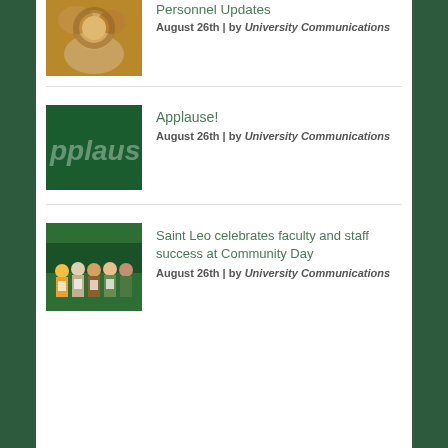[Figure (photo): Lion photo thumbnail (partial, cropped at top)]
Personnel Updates
August 26th | by University Communications
[Figure (photo): Green Applause thumbnail with text 'pplaus']
Applause!
August 26th | by University Communications
[Figure (photo): Group photo at Community Day with people holding certificates]
Saint Leo celebrates faculty and staff success at Community Day
August 26th | by University Communications
Calendar
Community